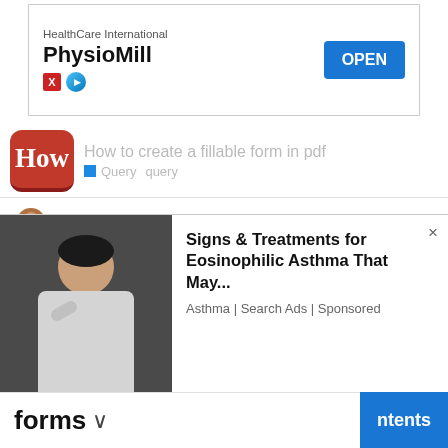[Figure (screenshot): Advertisement banner for PhysioMill by HealthCare International with an OPEN button]
How to create a fillable form in pdf | Query query
How to create a form in excel ■ Query
How to create a form in excel [SUPER EASY Excel Data Entry Form (NO VBA)] How do I add a form in Excel? In the Excel Options window, click Select Commands on the toolbar and select All Commands. Scroll through the order list and select Form. Then click the Add >> button to add the form to the Quick Access Toolbar. How do you turn an Excel file into a form?You can convert data from an Excel spreadsheet to a form when you need to repeatedly enter
[Figure (screenshot): Advertisement: Signs & Treatments for Eosinophilic Asthma That May... Asthma | Search Ads | Sponsored, with image of man coughing]
forms ⌄
ntents